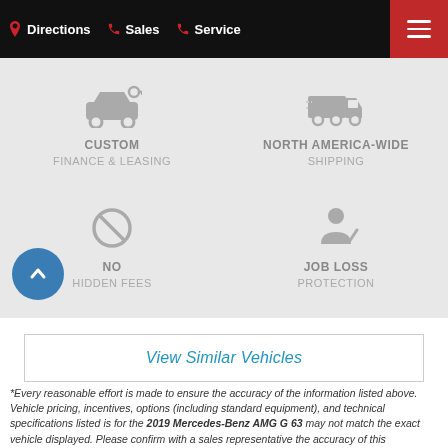Directions | Sales | Service
[Figure (infographic): Four feature icons in a 2x2 grid on grey background: Custom Finance & Leasing (car/key icon), North America-Wide Shipping (truck icon), No Hidden Fees (no-sign icon), Job Loss Protection (person with checkmark icon)]
View Similar Vehicles
*Every reasonable effort is made to ensure the accuracy of the information listed above. Vehicle pricing, incentives, options (including standard equipment), and technical specifications listed is for the 2019 Mercedes-Benz AMG G 63 may not match the exact vehicle displayed. Please confirm with a sales representative the accuracy of this information.